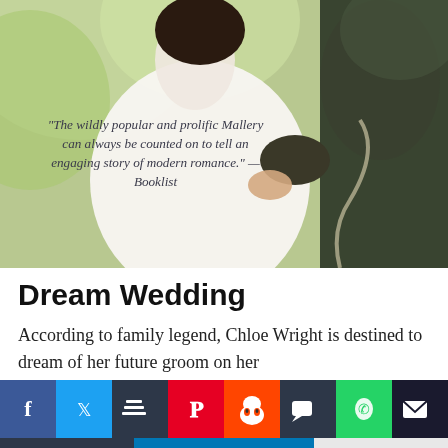[Figure (photo): Book cover photo showing a bride in white dress and groom in dark suit embracing outdoors with green bokeh background]
"The wildly popular and prolific Mallery can always be counted on to tell an engaging story of modern romance." —Booklist
Dream Wedding
According to family legend, Chloe Wright is destined to dream of her future groom on her
[Figure (infographic): Social sharing buttons bar: Facebook, Twitter, Buffer, Pinterest, Reddit, Message, WhatsApp, Email, Copy, LinkedIn, More (+)]